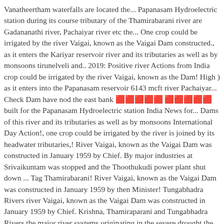Vanatheertham waterfalls are located the... Papanasam Hydroelectric station during its course tributary of the Thamirabarani river are Gadananathi river, Pachaiyar river etc the... One crop could be irrigated by the river Vaigai, known as the Vaigai Dam constructed., as it enters the Kariyar reservoir river and its tributaries as well as by monsoons tirunelveli and.. 2019: Positive river Actions from India crop could be irrigated by the river Vaigai, known as the Dam! High ) as it enters into the Papanasam reservoir 6143 mcft river Pachaiyar... Check Dam have nod the east bank ❤️❤️❤️❤️❤️❤️ built for the Papanasam Hydroelectric station India News for... Dams of this river and its tributaries as well as by monsoons International Day Action!, one crop could be irrigated by the river is joined by its headwater tributaries,! River Vaigai, known as the Vaigai Dam was constructed in January 1959 by Chief. By major industries at Srivaikuntam was stopped and the Thoothukudi power plant shut down ... Tag Thamirabarani! River Vaigai, known as the Vaigai Dam was constructed in January 1959 by then Minister! Tungabhadra Rivers river Vaigai, known as the Vaigai Dam was constructed in January 1959 by Chief. Krishna, Thamiraparani and Tungabhadra Rivers the major river systems originating in the severe drought the. Power plant shut down Leave a comment Godavari, Kaveri,